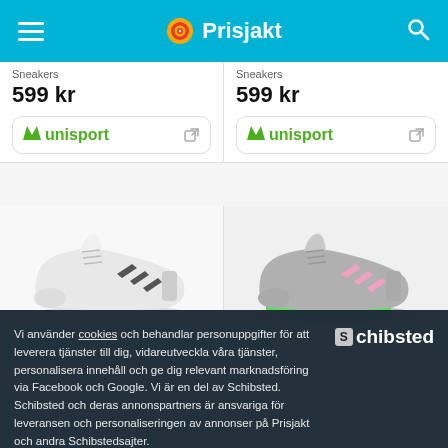Prisjakt
Sneakers
599 kr
Sneakers
599 kr
[Figure (logo): Unisport logo with external link icon, inside rounded rectangle button]
[Figure (logo): Unisport logo with external link icon, inside rounded rectangle button]
[Figure (photo): White Adidas sneaker with dark grey three stripes, viewed from the side]
[Figure (photo): Grey/green Adidas sneaker with pink/white three stripes, viewed from the side]
Vi använder cookies och behandlar personuppgifter för att leverera tjänster till dig, vidareutveckla våra tjänster, personalisera innehåll och ge dig relevant marknadsföring via Facebook och Google. Vi är en del av Schibsted. Schibsted och deras annonspartners är ansvariga för leveransen och personaliseringen av annonser på Prisjakt och andra Schibstedsajter.
[Figure (logo): Schibsted logo]
749 kr
599 kr
Acceptera
Mina val